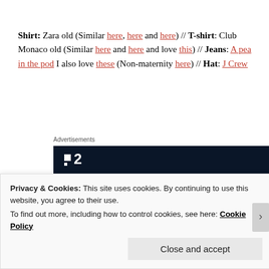Shirt: Zara old (Similar here, here and here) // T-shirt: Club Monaco old (Similar here and here and love this) // Jeans: A pea in the pod I also love these (Non-maternity here) // Hat: J Crew
Advertisements
[Figure (other): Advertisement banner with dark navy background showing logo '■2' and partial text 'Fewer meetings' at the bottom]
Privacy & Cookies: This site uses cookies. By continuing to use this website, you agree to their use. To find out more, including how to control cookies, see here: Cookie Policy
Close and accept